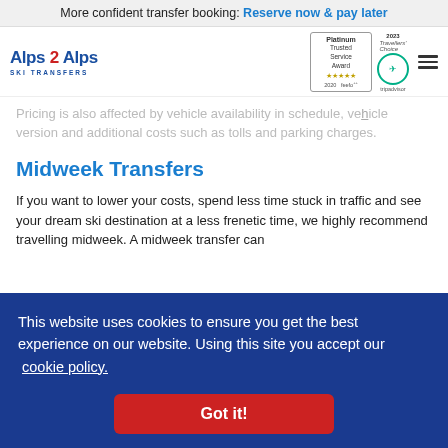More confident transfer booking: Reserve now & pay later
[Figure (logo): Alps 2 Alps Ski Transfers logo with Platinum Trusted Service Award (feefo 2020, 5 stars) and Tripadvisor Travellers Choice badge]
Pricing is also affected by vehicle availability in schedule, vehicle version and additional costs such as tolls and parking charges.
Midweek Transfers
If you want to lower your costs, spend less time stuck in traffic and see your dream ski destination at a less frenetic time, we highly recommend travelling midweek. A midweek transfer can save you up to 60%. More discounts are available for those travelling on [text cut off]
This website uses cookies to ensure you get the best experience on our website. Using this site you accept our cookie policy.
Got it!